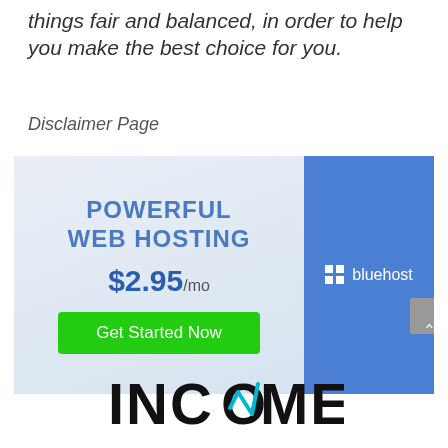things fair and balanced, in order to help you make the best choice for you.
Disclaimer Page
[Figure (screenshot): Bluehost web hosting advertisement banner showing 'POWERFUL WEB HOSTING' at $2.95/mo with a 'Get Started Now' green button and the Bluehost logo on a blue panel on the right.]
[Figure (logo): INCOME logo in large bold black letters with a stylized upward arrow/checkmark icon replacing part of a letter.]